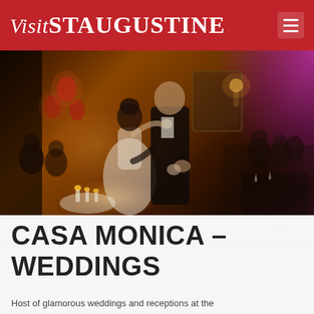Visit St Augustine
[Figure (photo): A wedding couple sharing their first dance in a warmly lit ballroom. The bride wears a white strapless gown, the groom wears a black tuxedo with a white boutonniere. The room features amber candlelight on the left with red lanterns, and a bright magenta/pink uplighting on the right wall. Guests are visible seated at tables in the background.]
CASA MONICA – WEDDINGS
Host of glamorous weddings and receptions at the